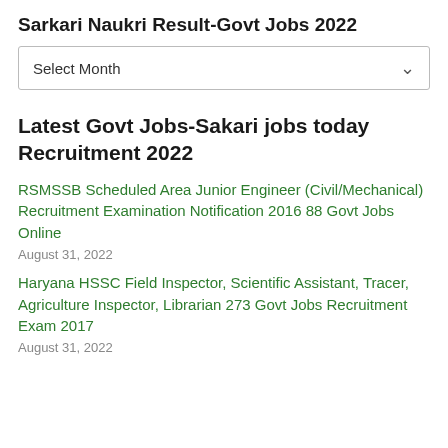Sarkari Naukri Result-Govt Jobs 2022
Select Month
Latest Govt Jobs-Sakari jobs today Recruitment 2022
RSMSSB Scheduled Area Junior Engineer (Civil/Mechanical) Recruitment Examination Notification 2016 88 Govt Jobs Online
August 31, 2022
Haryana HSSC Field Inspector, Scientific Assistant, Tracer, Agriculture Inspector, Librarian 273 Govt Jobs Recruitment Exam 2017
August 31, 2022